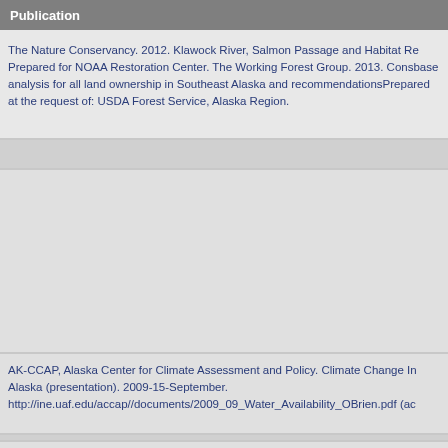Publication
The Nature Conservancy. 2012. Klawock River, Salmon Passage and Habitat Re... Prepared for NOAA Restoration Center. The Working Forest Group. 2013. Cons... base analysis for all land ownership in Southeast Alaska and recommendations... Prepared at the request of: USDA Forest Service, Alaska Region.
AK-CCAP, Alaska Center for Climate Assessment and Policy. Climate Change In... Alaska (presentation). 2009-15-September. http://ine.uaf.edu/accap//documents/2009_09_Water_Availability_OBrien.pdf (ac...